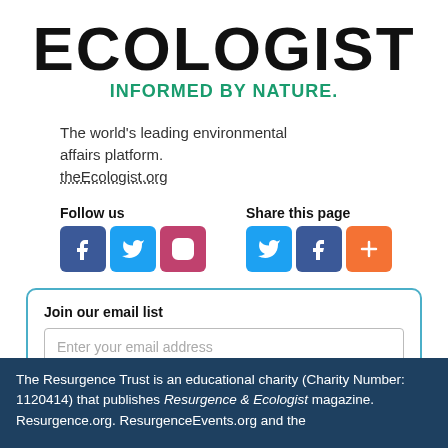ECOLOGIST
INFORMED BY NATURE.
The world's leading environmental affairs platform. theEcologist.org
Follow us
[Figure (infographic): Social media icon buttons for Follow us (Facebook, Twitter, Instagram) and Share this page (Twitter, Facebook, Plus)]
Share this page
Join our email list
Enter your email address
Get the newsletter
The Resurgence Trust is an educational charity (Charity Number: 1120414) that publishes Resurgence & Ecologist magazine. Resurgence.org. ResurgenceEvents.org and the